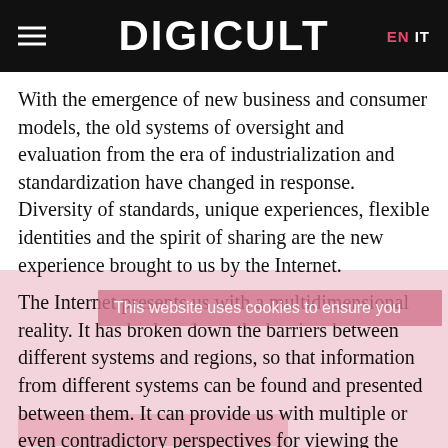DIGICULT  EN  IT
With the emergence of new business and consumer models, the old systems of oversight and evaluation from the era of industrialization and standardization have changed in response. Diversity of standards, unique experiences, flexible identities and the spirit of sharing are the new experience brought to us by the Internet.
This website uses cookies to ensure you
The Internet presents us with a multidimensional reality. It has broken down the barriers between different systems and regions, so that information from different systems can be found and presented between them. It can provide us with multiple or even contradictory perspectives for viewing the same facts.